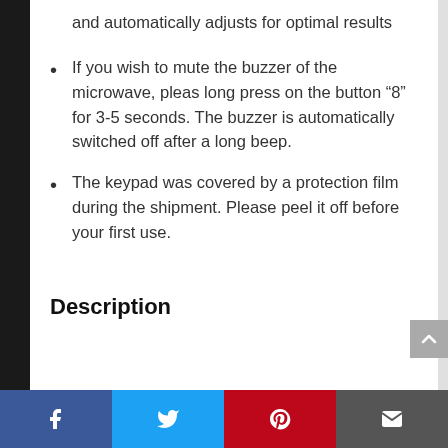and automatically adjusts for optimal results
If you wish to mute the buzzer of the microwave, pleas long press on the button “8” for 3-5 seconds. The buzzer is automatically switched off after a long beep.
The keypad was covered by a protection film during the shipment. Please peel it off before your first use.
Description